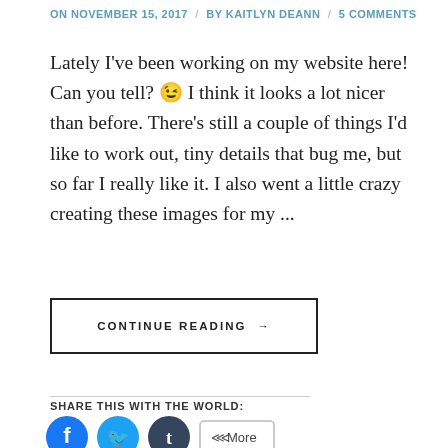ON NOVEMBER 15, 2017 / BY KAITLYN DEANN / 5 COMMENTS
Lately I've been working on my website here! Can you tell? 😉 I think it looks a lot nicer than before. There's still a couple of things I'd like to work out, tiny details that bug me, but so far I really like it. I also went a little crazy creating these images for my ...
CONTINUE READING →
SHARE THIS WITH THE WORLD: